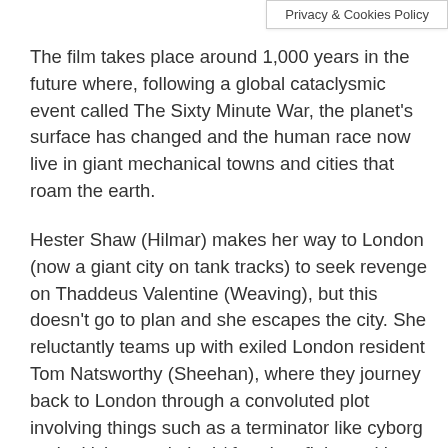Privacy & Cookies Policy
The film takes place around 1,000 years in the future where, following a global cataclysmic event called The Sixty Minute War, the planet's surface has changed and the human race now live in giant mechanical towns and cities that roam the earth.
Hester Shaw (Hilmar) makes her way to London (now a giant city on tank tracks) to seek revenge on Thaddeus Valentine (Weaving), but this doesn't go to plan and she escapes the city. She reluctantly teams up with exiled London resident Tom Natsworthy (Sheehan), where they journey back to London through a convoluted plot involving things such as a terminator like cyborg and a kick ass criminal / freedom fighter with a bounty on her head, who mostly wears sunglasses. As expected lots of events and set pieces unfold and they eventually have to